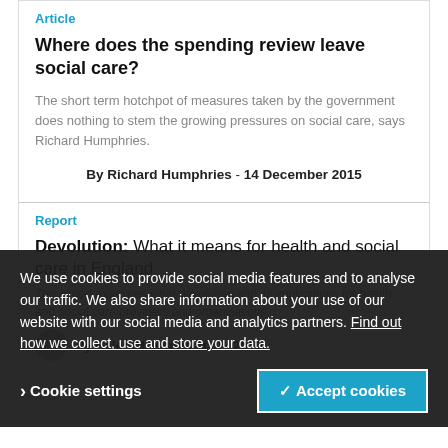Article
Where does the spending review leave social care?
The short term hotchpot of measures taken by the government does nothing to stem the growing pressures on social care, says Richard Humphries.
By Richard Humphries - 14 December 2015
Report
Devolution: What it means for health and social care in England
We use cookies to provide social media features and to analyse our traffic. We also share information about your use of our website with our social media and analytics partners. Find out how we collect, use and store your data.
Cookie settings
✓ Accept cookies
By Helen McKenna et al - 2015